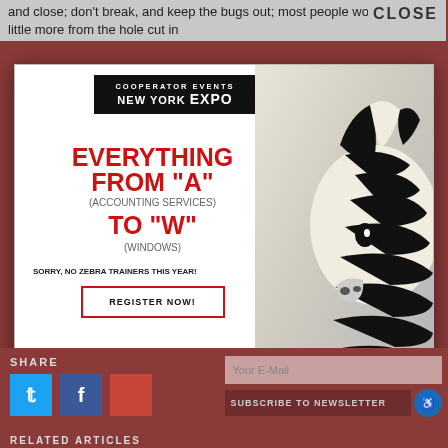and close; don't break, and keep the bugs out; most people would like a little more from the hole cut in
CLOSE
[Figure (screenshot): Advertisement popup for Cooperator Events New York Expo featuring text 'EVERYTHING FROM A (ACCOUNTING SERVICES) TO W (WINDOWS)' with a zebra photo and event details for Jacob Javits Convention Center, Thursday October 27 10AM-4:30PM, www.coopexpofall.com]
SHARE
Your E-Mail
SUBSCRIBE TO NEWSLETTER
RELATED ARTICLES